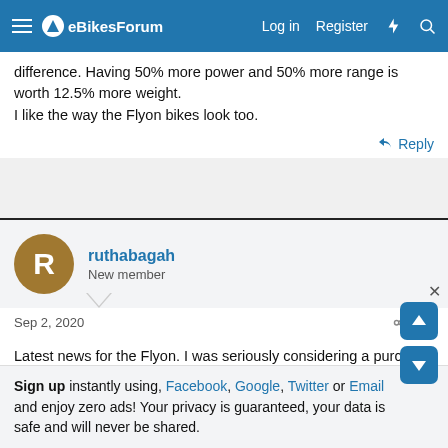eBikesForum — Log in | Register
difference. Having 50% more power and 50% more range is worth 12.5% more weight.
I like the way the Flyon bikes look too.
Reply
ruthabagah
New member
Sep 2, 2020 #8
Latest news for the Flyon. I was seriously considering a purchase next year when they will be available... Until I saw the weight: 28 kgs / 61lbs.... Nope.
Sign up instantly using, Facebook, Google, Twitter or Email and enjoy zero ads! Your privacy is guaranteed, your data is safe and will never be shared.